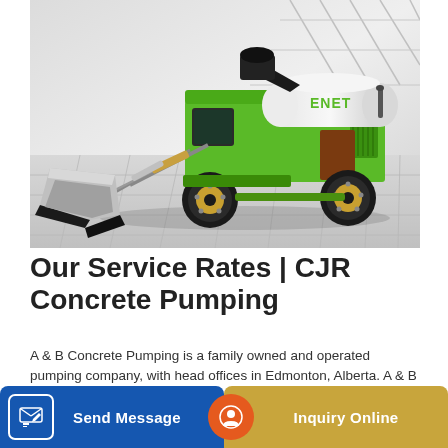[Figure (photo): A green self-loading concrete mixer / pumping machine (ENET brand) with a front bucket/scoop attachment, photographed in a studio-like environment with light gray tiled floor and white paneled walls in the background.]
Our Service Rates | CJR Concrete Pumping
A & B Concrete Pumping is a family owned and operated pumping company, with head offices in Edmonton, Alberta. A & B has been in the concrete pumping ...